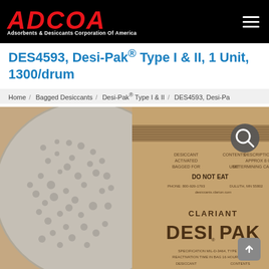ADCOA — Adsorbents & Desiccants Corporation Of America
DES4593, Desi-Pak® Type I & II, 1 Unit, 1300/drum
Home / Bagged Desiccants / Desi-Pak® Type I & II / DES4593, Desi-Pa
[Figure (photo): Close-up photograph of a Clariant Desi-Pak desiccant bag showing white silica gel granules on the left half and the printed kraft paper packaging on the right half. The label reads CLARIANT DESI PAK with SPECIFICATION MIL-D-3464, SPECIFICATION TIME IN BAG 16 HOURS AT 25°F, DESICCANT, CONTENTS. Upper label area reads: DESICCANT, ACTIVATED, BAGGED FOR, CONTENTS, UNIT, DO NOT EAT, with a phone number and Duluth MN address and desiccants.clarion.com website.]